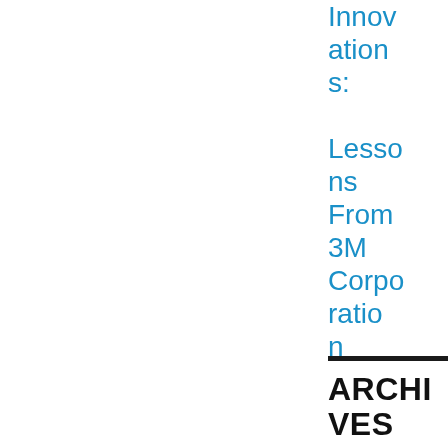Innovations: Lessons From 3M Corporation
ARCHIVES